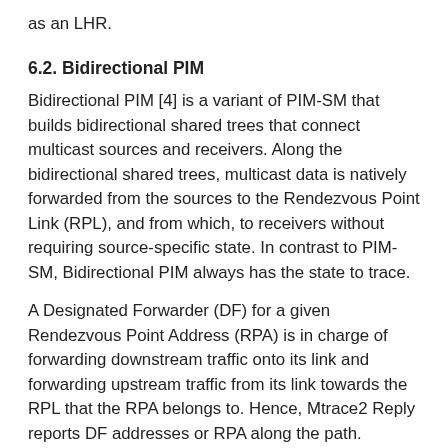as an LHR.
6.2. Bidirectional PIM
Bidirectional PIM [4] is a variant of PIM-SM that builds bidirectional shared trees that connect multicast sources and receivers. Along the bidirectional shared trees, multicast data is natively forwarded from the sources to the Rendezvous Point Link (RPL), and from which, to receivers without requiring source-specific state. In contrast to PIM-SM, Bidirectional PIM always has the state to trace.
A Designated Forwarder (DF) for a given Rendezvous Point Address (RPA) is in charge of forwarding downstream traffic onto its link and forwarding upstream traffic from its link towards the RPL that the RPA belongs to. Hence, Mtrace2 Reply reports DF addresses or RPA along the path.
6.3. PIM-DM
Routers running PIM - Dense Mode (PIM-DM) [11] do not